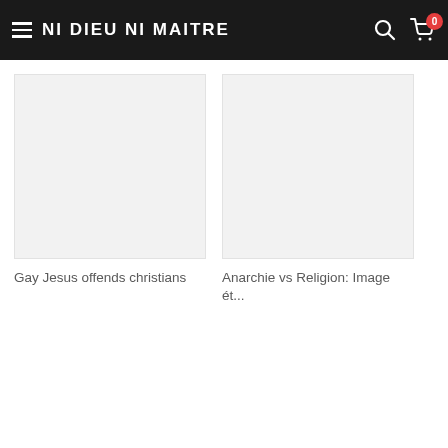NI DIEU NI MAITRE
Gay Jesus offends christians
Anarchie vs Religion: Image ét...